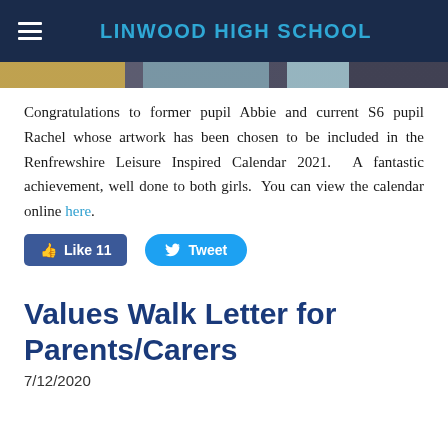LINWOOD HIGH SCHOOL
[Figure (photo): Navigation image strip showing partial photos]
Congratulations to former pupil Abbie and current S6 pupil Rachel whose artwork has been chosen to be included in the Renfrewshire Leisure Inspired Calendar 2021. A fantastic achievement, well done to both girls. You can view the calendar online here.
Like 11 | Tweet
Values Walk Letter for Parents/Carers
7/12/2020